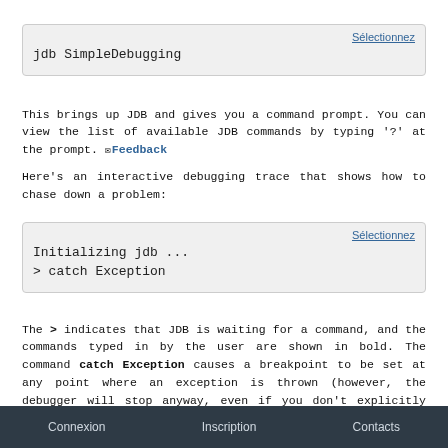[Figure (screenshot): Code box with 'Sélectionnez' link and code: jdb SimpleDebugging]
This brings up JDB and gives you a command prompt. You can view the list of available JDB commands by typing '?' at the prompt. Feedback
Here's an interactive debugging trace that shows how to chase down a problem:
[Figure (screenshot): Code box with 'Sélectionnez' link and code: Initializing jdb ... / > catch Exception]
The > indicates that JDB is waiting for a command, and the commands typed in by the user are shown in bold. The command catch Exception causes a breakpoint to be set at any point where an exception is thrown (however, the debugger will stop anyway, even if you don't explicitly give...
Connexion    Inscription    Contacts